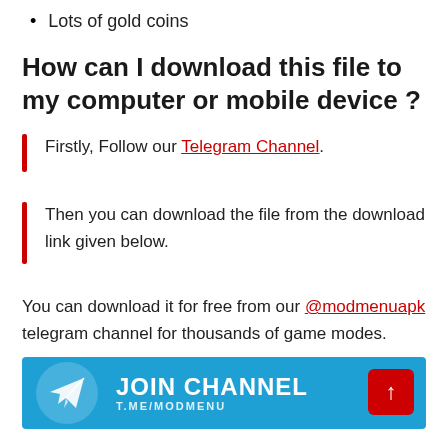Lots of gold coins
How can I download this file to my computer or mobile device ?
Firstly, Follow our Telegram Channel.
Then you can download the file from the download link given below.
You can download it for free from our @modmenuapk telegram channel for thousands of game modes.
[Figure (infographic): Blue Telegram JOIN CHANNEL banner with Telegram paper plane icon and T.ME/MODMENU URL, with a red scroll-to-top button overlapping the bottom right]
Direct Download Link